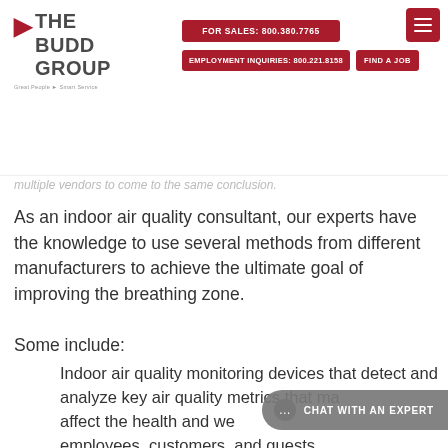THE BUDD GROUP — FOR SALES: 800.380.7765 — EMPLOYMENT INQUIRIES: 800.221.8158 — FIND A JOB
multiple vendors to come to the same conclusion.
As an indoor air quality consultant, our experts have the knowledge to use several methods from different manufacturers to achieve the ultimate goal of improving the breathing zone.
Some include:
Indoor air quality monitoring devices that detect and analyze key air quality metrics that may affect the health and well-being of employees, customers, and guests.